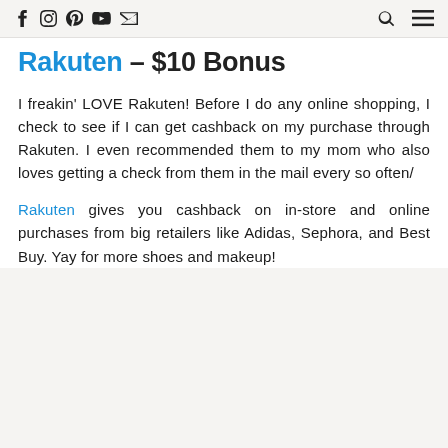f  ⓘ  ⊕  ▶  ✉  [search] [menu]
Rakuten – $10 Bonus
I freakin' LOVE Rakuten! Before I do any online shopping, I check to see if I can get cashback on my purchase through Rakuten. I even recommended them to my mom who also loves getting a check from them in the mail every so often/
Rakuten gives you cashback on in-store and online purchases from big retailers like Adidas, Sephora, and Best Buy. Yay for more shoes and makeup!